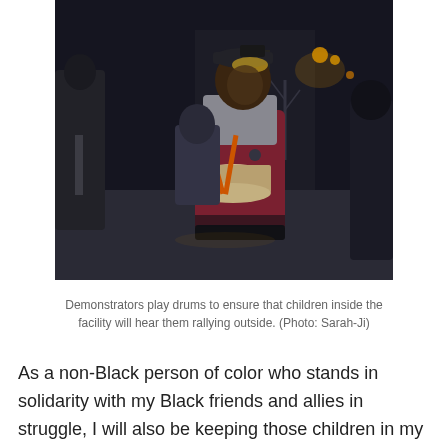[Figure (photo): Nighttime outdoor photo of demonstrators playing drums. A young Black person in a maroon/red varsity jacket and gray hoodie holding drum sticks and a snare drum is prominently featured in the center. Other people in winter coats are visible in the background, with city lights and bare trees visible in the dark night sky.]
Demonstrators play drums to ensure that children inside the facility will hear them rallying outside. (Photo: Sarah-Ji)
As a non-Black person of color who stands in solidarity with my Black friends and allies in struggle, I will also be keeping those children in my thoughts as I vote on Tuesday. Because each one of those children, locked away from any hope of a world that might help them heal and grow,